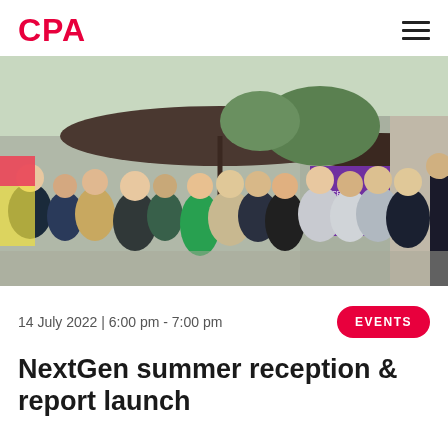CPA
[Figure (photo): Outdoor networking event with a crowd of professionals standing under large umbrellas. A purple banner with 'WFA CPA' branding is visible in the background. Daytime, urban setting.]
14 July 2022 | 6:00 pm - 7:00 pm
EVENTS
NextGen summer reception & report launch